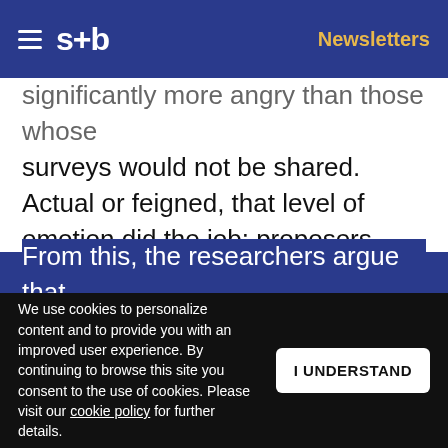s+b  Newsletters
significantly more angry than those whose surveys would not be shared. Actual or feigned, that level of emotion did the job: proposers who believed their counterpart was angry shared more money than those who didn't. (The authors did not specify how much more money was shared, only that the amount increased.)
From this, the researchers argue that
We use cookies to personalize content and to provide you with an improved user experience. By continuing to browse this site you consent to the use of cookies. Please visit our cookie policy for further details.